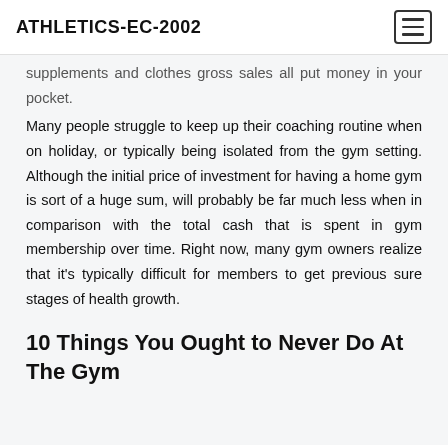ATHLETICS-EC-2002
supplements and clothes gross sales all put money in your pocket.
Many people struggle to keep up their coaching routine when on holiday, or typically being isolated from the gym setting. Although the initial price of investment for having a home gym is sort of a huge sum, will probably be far much less when in comparison with the total cash that is spent in gym membership over time. Right now, many gym owners realize that it’s typically difficult for members to get previous sure stages of health growth.
10 Things You Ought to Never Do At The Gym